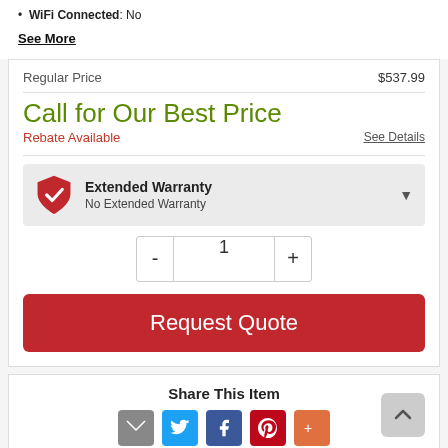WiFi Connected: No
See More
| Regular Price | $537.99 |
Call for Our Best Price
Rebate Available
See Details
[Figure (infographic): Extended Warranty selector with red shield checkmark icon, title 'Extended Warranty', subtitle 'No Extended Warranty', dropdown arrow]
[Figure (infographic): Quantity selector with minus button, quantity field showing 1, plus button]
[Figure (infographic): Red 'Request Quote' button]
Share This Item
[Figure (infographic): Social share icons: email, Twitter, Facebook, Pinterest, More]